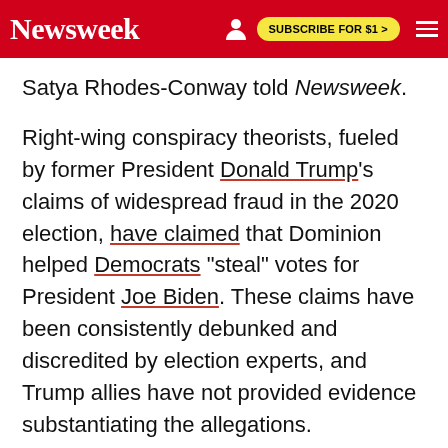Newsweek  SUBSCRIBE FOR $1 >
Satya Rhodes-Conway told Newsweek.
Right-wing conspiracy theorists, fueled by former President Donald Trump's claims of widespread fraud in the 2020 election, have claimed that Dominion helped Democrats "steal" votes for President Joe Biden. These claims have been consistently debunked and discredited by election experts, and Trump allies have not provided evidence substantiating the allegations.